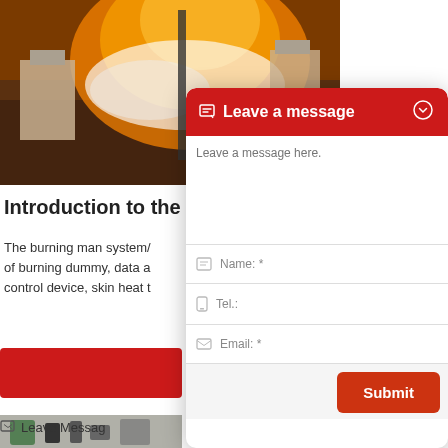[Figure (photo): Fire/explosion photo showing burning test setup with orange flames and equipment]
Introduction to the b
The burning man system/ of burning dummy, data a control device, skin heat t
[Figure (screenshot): Red contact form modal widget with 'Leave a message' header, text area, Name, Tel, Email fields and Submit button]
[Figure (photo): Bottom photo showing lab equipment with green and black components]
Leave Messag